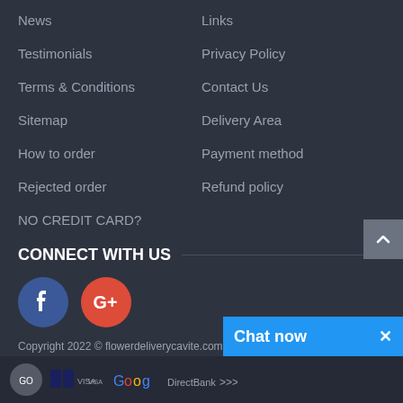News
Links
Testimonials
Privacy Policy
Terms & Conditions
Contact Us
Sitemap
Delivery Area
How to order
Payment method
Rejected order
Refund policy
NO CREDIT CARD?
CONNECT WITH US
[Figure (logo): Facebook and Google+ social media icons]
Copyright 2022 © flowerdeliverycavite.com. All Rights Reserved.
Website Design & Developed by  SW3 Solutions
[Figure (logo): Chat now button and payment logos at bottom]
Chat now ×